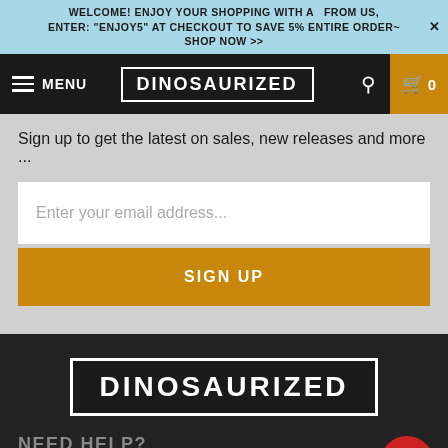WELCOME! ENJOY YOUR SHOPPING WITH A  FROM US, ENTER: "ENJOY5" AT CHECKOUT TO SAVE 5% ENTIRE ORDER~ SHOP NOW >>
[Figure (logo): Dinosaurized logo in navbar — white bordered box with white bold text 'DINOSAURIZED' on black background]
Sign up to get the latest on sales, new releases and more ...
Enter your email address...
SIGN UP
[Figure (logo): Dinosaurized footer logo — white bordered box with white bold text 'DINOSAURIZED' on dark background]
NEED HELP?
ABOUT DINOSAURIZED